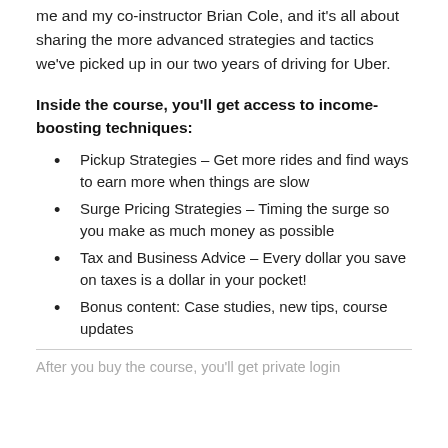me and my co-instructor Brian Cole, and it’s all about sharing the more advanced strategies and tactics we’ve picked up in our two years of driving for Uber.
Inside the course, you’ll get access to income-boosting techniques:
Pickup Strategies – Get more rides and find ways to earn more when things are slow
Surge Pricing Strategies – Timing the surge so you make as much money as possible
Tax and Business Advice – Every dollar you save on taxes is a dollar in your pocket!
Bonus content: Case studies, new tips, course updates
After you buy the course, you’ll get private login